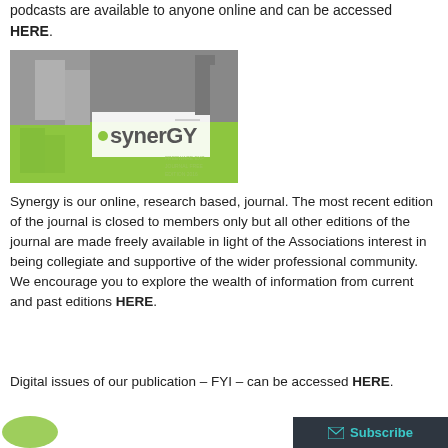podcasts are available to anyone online and can be accessed HERE.
[Figure (illustration): Synergy journal banner image with grey and green tones showing architectural elements and the Synergy logo]
Synergy is our online, research based, journal. The most recent edition of the journal is closed to members only but all other editions of the journal are made freely available in light of the Associations interest in being collegiate and supportive of the wider professional community. We encourage you to explore the wealth of information from current and past editions HERE.
Digital issues of our publication – FYI – can be accessed HERE.
[Figure (logo): Partial green circular logo at bottom left]
Subscribe